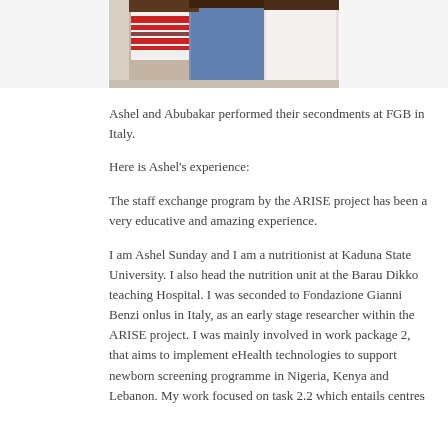[Figure (photo): Photo of Ashel and Abubakar, two people visible from the neck down, one wearing a red and white striped shirt, another in blue, with a third person partially visible in white.]
Ashel and Abubakar performed their secondments at FGB in Italy.
Here is Ashel's experience:
The staff exchange program by the ARISE project has been a very educative and amazing experience.
I am Ashel Sunday and I am a nutritionist at Kaduna State University. I also head the nutrition unit at the Barau Dikko teaching Hospital. I was seconded to Fondazione Gianni Benzi onlus in Italy, as an early stage researcher within the ARISE project. I was mainly involved in work package 2, that aims to implement eHealth technologies to support newborn screening programme in Nigeria, Kenya and Lebanon. My work focused on task 2.2 which entails centres